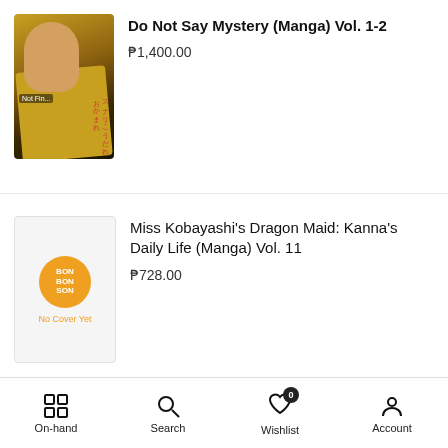[Figure (screenshot): Partial product listing for 'Do Not Say Mystery (Manga) Vol. 1-2' with manga cover thumbnail showing a figure in yellow jacket, price ₱1,400.00]
Do Not Say Mystery (Manga) Vol. 1-2
₱1,400.00
[Figure (illustration): Placeholder thumbnail with orange BON SON circle logo and 'No Cover Yet' text]
Miss Kobayashi's Dragon Maid: Kanna's Daily Life (Manga) Vol. 11
₱728.00
[Figure (photo): Miss Kobayashi's Dragon Maid: Kanna's Daily Life manga vol. 10 cover with pink/red dragon maid characters]
Miss Kobayashi's Dragon Maid: Kanna's Daily Life (Manga) Vol. 10
₱728.00
On-hand  Search  Wishlist  Account